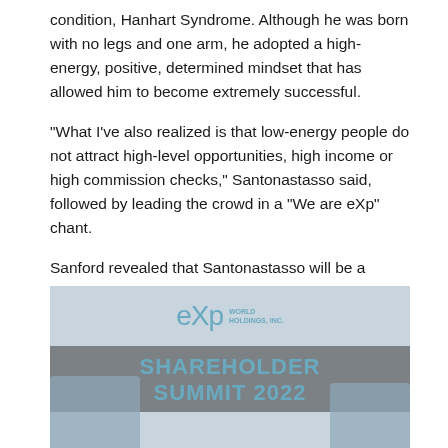condition, Hanhart Syndrome. Although he was born with no legs and one arm, he adopted a high-energy, positive, determined mindset that has allowed him to become extremely successful.
"What I've also realized is that low-energy people do not attract high-level opportunities, high income or high commission checks," Santonastasso said, followed by leading the crowd in a "We are eXp" chant.
Sanford revealed that Santonastasso will be a keynote speaker at EXPCON 2022 and perhaps have a continuous role with eXp as a columnist at SUCCESS Magazine.
[Figure (photo): eXp World Holdings, Inc. Shareholder Summit 2022 event photo showing two people on stage in front of a banner with the eXp logo and text 'SHAREHOLDER SUMMIT 2022']